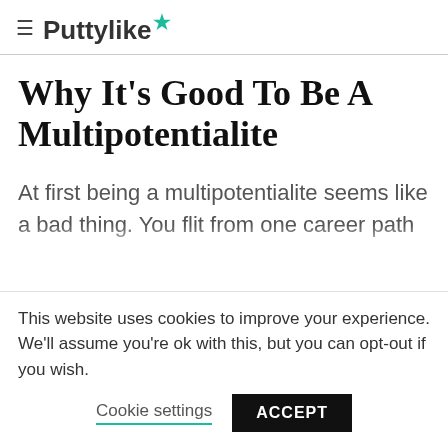≡ Puttylike★
Why It's Good To Be A Multipotentialite
At first being a multipotentialite seems like a bad thing. You flit from one career path to another, never feeling like you're getting anywhere. But let's explore some of the positives of this "flaw" of yours
This website uses cookies to improve your experience. We'll assume you're ok with this, but you can opt-out if you wish.
Cookie settings   ACCEPT